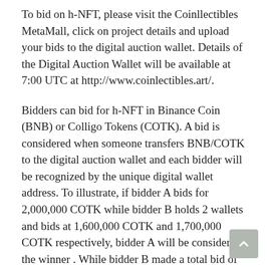To bid on h-NFT, please visit the Coinllectibles MetaMall, click on project details and upload your bids to the digital auction wallet. Details of the Digital Auction Wallet will be available at 7:00 UTC at http://www.coinlectibles.art/.
Bidders can bid for h-NFT in Binance Coin (BNB) or Colligo Tokens (COTK). A bid is considered when someone transfers BNB/COTK to the digital auction wallet and each bidder will be recognized by the unique digital wallet address. To illustrate, if bidder A bids for 2,000,000 COTK while bidder B holds 2 wallets and bids at 1,600,000 COTK and 1,700,000 COTK respectively, bidder A will be considered the winner . While bidder B made a total bid of 3,300,000 COTK, they are considered separate bidders due to different wallet addresses.
There is no limit to the number of bids and/or counter bids each wallet can make.
To reconcile the different digital currencies, the conversion rates to 5:15 p.m. UTC will be taken. For the avoidance of doubt,